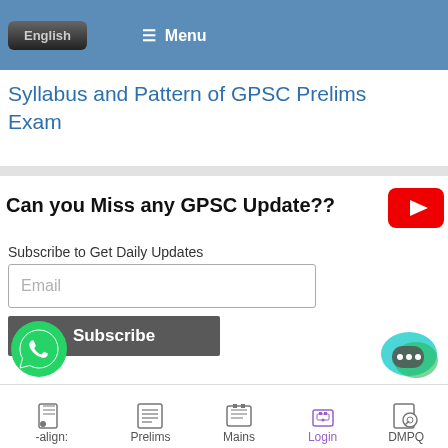English  ≡ Menu
Syllabus and Pattern of GPSC Prelims Exam
Can you Miss any GPSC Update??
Subscribe to Get Daily Updates
Email
Subscribe
[Figure (screenshot): YouTube play button icon (red rounded rectangle with white play triangle)]
[Figure (screenshot): WhatsApp green phone icon]
[Figure (screenshot): Chat bubble icon (teal/green)]
-align:   Prelims   Mains   Login   DMPQ